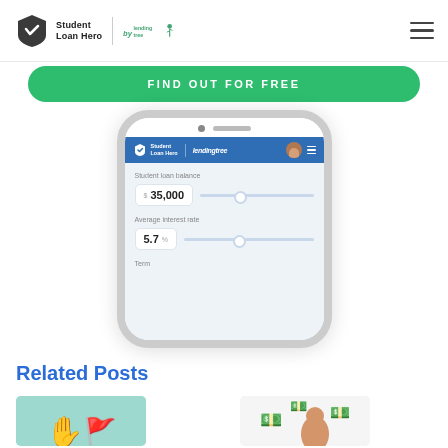Student Loan Hero | LendingTree
FIND OUT FOR FREE
[Figure (screenshot): iPhone mockup showing Student Loan Hero app interface with fields: Student loan balance ($35,000) and Average interest rate (5.7%) with sliders, and a Term field.]
Related Posts
[Figure (illustration): Illustration showing a hand and flag on teal/mint background]
[Figure (illustration): Illustration showing a woman with money bills flying around her]